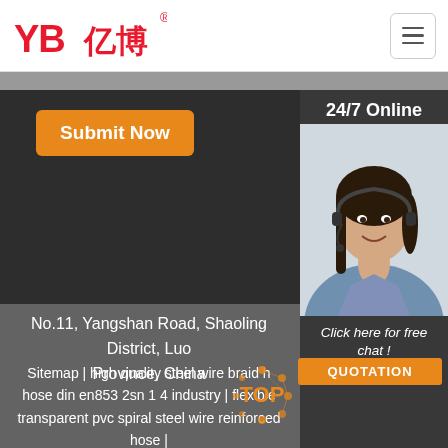[Figure (logo): YB亿博 company logo in red with registered trademark symbol]
[Figure (screenshot): Hamburger menu button (three horizontal lines) in top right]
Submit Now
24/7 Online
[Figure (photo): Female customer service agent with headset, smiling]
Click here for free chat !
QUOTATION
No.11, Yangshan Road, Shaoling District, Luoyang Province, China
Sitemap | high quality steel wire braid hose din en853 2sn 1 4 industry | flexible transparent pvc spiral steel wire reinforced hose | flexible hose connector sae100r2a 1 inch rubber hose
[Figure (logo): TOP logo with orange dot network pattern]